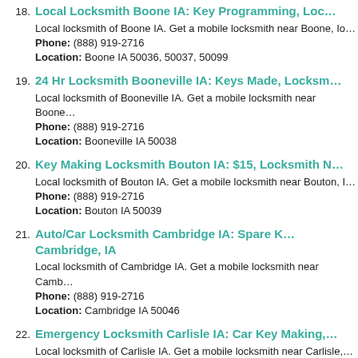18. Local Locksmith Boone IA: Key Programming, Loc...
Local locksmith of Boone IA. Get a mobile locksmith near Boone, Io...
Phone: (888) 919-2716
Location: Boone IA 50036, 50037, 50099
19. 24 Hr Locksmith Booneville IA: Keys Made, Locksm...
Local locksmith of Booneville IA. Get a mobile locksmith near Boone...
Phone: (888) 919-2716
Location: Booneville IA 50038
20. Key Making Locksmith Bouton IA: $15, Locksmith N...
Local locksmith of Bouton IA. Get a mobile locksmith near Bouton, I...
Phone: (888) 919-2716
Location: Bouton IA 50039
21. Auto/Car Locksmith Cambridge IA: Spare K... Cambridge, IA
Local locksmith of Cambridge IA. Get a mobile locksmith near Camb...
Phone: (888) 919-2716
Location: Cambridge IA 50046
22. Emergency Locksmith Carlisle IA: Car Key Making,...
Local locksmith of Carlisle IA. Get a mobile locksmith near Carlisle,...
Phone: (888) 919-2716
Location: Carlisle IA 50047
23. 24 Hr Locksmith Carson IA: Keys Cutter, Locksmith...
Local locksmith of Carson IA. Get a mobile locksmith near Carson,...